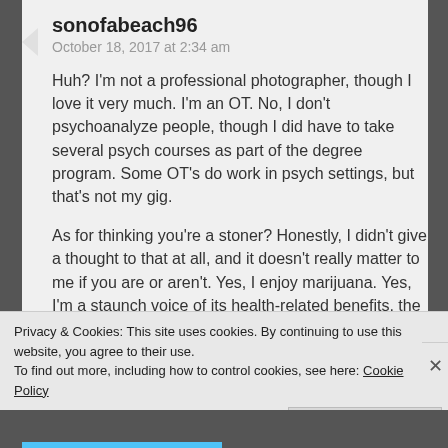sonofabeach96
October 18, 2017 at 2:34 am
Huh? I'm not a professional photographer, though I love it very much. I'm an OT. No, I don't psychoanalyze people, though I did have to take several psych courses as part of the degree program. Some OT's do work in psych settings, but that's not my gig.
As for thinking you're a stoner? Honestly, I didn't give a thought to that at all, and it doesn't really matter to me if you are or aren't. Yes, I enjoy marijuana. Yes, I'm a staunch voice of its health-related benefits, the benefits
Privacy & Cookies: This site uses cookies. By continuing to use this website, you agree to their use.
To find out more, including how to control cookies, see here: Cookie Policy
Close and accept